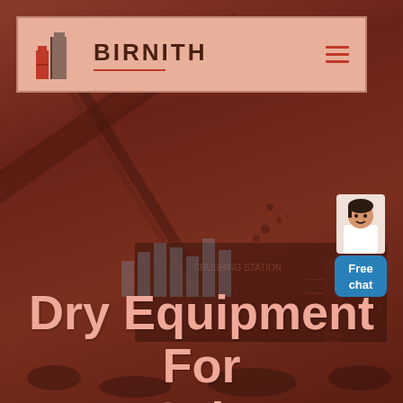[Figure (screenshot): Website screenshot showing the Birnith company homepage header with logo and navigation, overlaid on an industrial crushing station equipment background with reddish-brown tint. A chat widget with a female avatar and 'Free chat' button appears in the top right.]
Dry Equipment For Sale